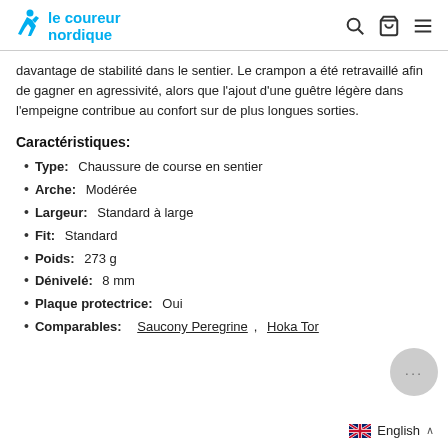le coureur nordique
davantage de stabilité dans le sentier. Le crampon a été retravaillé afin de gagner en agressivité, alors que l'ajout d'une guêtre légère dans l'empeigne contribue au confort sur de plus longues sorties.
Caractéristiques:
Type: Chaussure de course en sentier
Arche: Modérée
Largeur: Standard à large
Fit: Standard
Poids: 273 g
Dénivelé: 8 mm
Plaque protectrice: Oui
Comparables: Saucony Peregrine, Hoka Tor